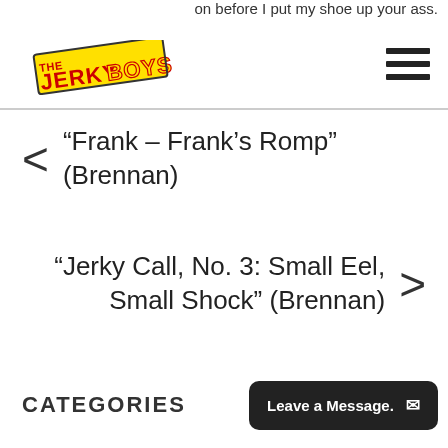on before I put my shoe up your ass.
[Figure (logo): The Jerky Boys logo — stylized text with yellow outlined letters and red accents, slight tilt]
≡ (hamburger menu icon)
< “Frank – Frank’s Romp” (Brennan)
“Jerky Call, No. 3: Small Eel, Small Shock” (Brennan) >
CATEGORIES
Leave a Message. ✉